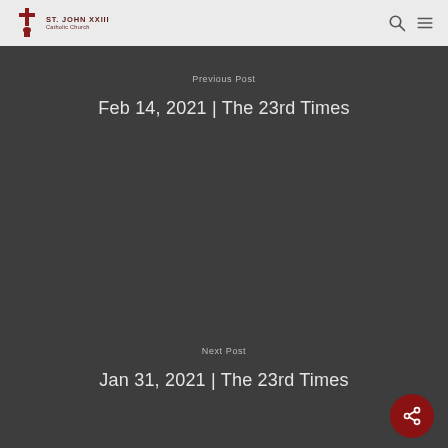St. John XXIII Catholic Church
Previous Post
Feb 14, 2021 | The 23rd Times
Next Post
Jan 31, 2021 | The 23rd Times